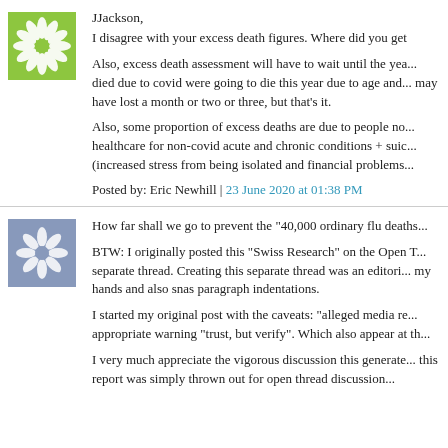JJackson,
I disagree with your excess death figures. Where did you get
Also, excess death assessment will have to wait until the yea... died due to covid were going to die this year due to age and... may have lost a month or two or three, but that's it.
Also, some proportion of excess deaths are due to people no... healthcare for non-covid acute and chronic conditions + suic... (increased stress from being isolated and financial problems...
Posted by: Eric Newhill | 23 June 2020 at 01:38 PM
How far shall we go to prevent the "40,000 ordinary flu deaths...
BTW: I originally posted this "Swiss Research" on the Open T... separate thread. Creating this separate thread was an editori... my hands and also snas paragraph indentations.
I started my original post with the caveats: "alleged media re... appropriate warning "trust, but verify". Which also appear at th...
I very much appreciate the vigorous discussion this generate... this report was simply thrown out for open thread discussion...